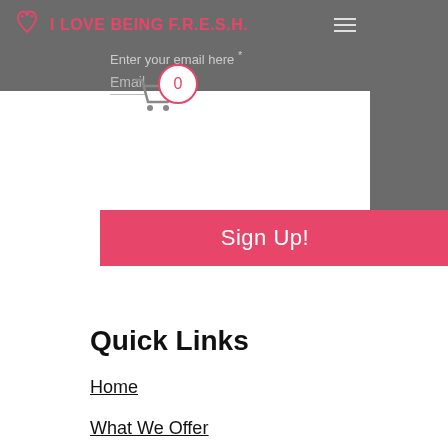I LOVE BEING F.R.E.S.H.
Enter your email here *
Email
0
Sign Up!
Quick Links
Home
What We Offer
Shop
Programs
Consultations